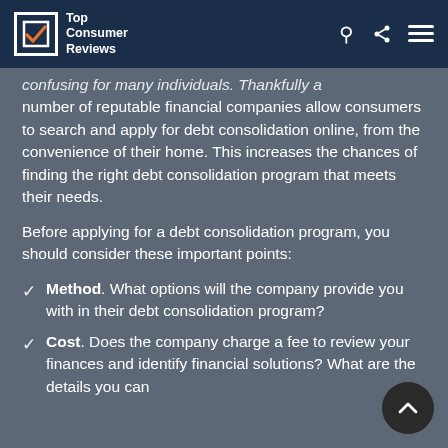Top Consumer Reviews
confusing for many individuals. Thankfully a number of reputable financial companies allow consumers to search and apply for debt consolidation online, from the convenience of their home. This increases the chances of finding the right debt consolidation program that meets their needs.
Before applying for a debt consolidation program, you should consider these important points:
Method. What options will the company provide you with in their debt consolidation program?
Cost. Does the company charge a fee to review your finances and identify financial solutions? What are the details you can